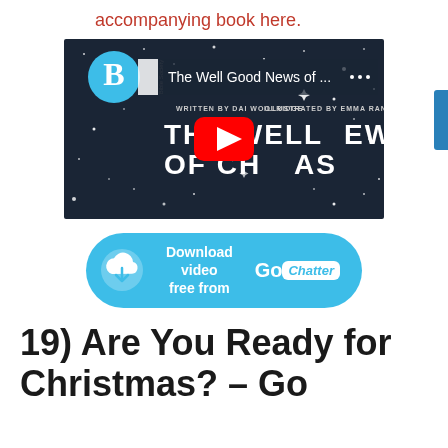accompanying book here.
[Figure (screenshot): YouTube video thumbnail for 'The Well Good News of...' by Bible Society, showing a starry night background with text 'THE WELL GOOD NEWS OF CHRISTMAS', written by Dai Woolridge, illustrated by Emma Randell. A red YouTube play button is overlaid in the center.]
[Figure (infographic): Blue rounded button that reads 'Download video free from' with a cloud download icon on the left and 'GoChatter' branding on the right.]
19) Are You Ready for Christmas? – Go